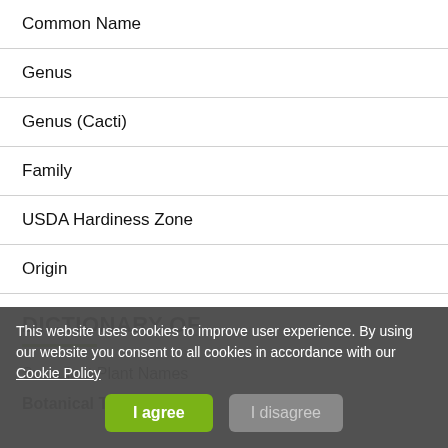Common Name
Genus
Genus (Cacti)
Family
USDA Hardiness Zone
Origin
DICTIONARY OF
Succulent Plant Names
Botanical Terms
This website uses cookies to improve user experience. By using our website you consent to all cookies in accordance with our Cookie Policy
I agree   I disagree